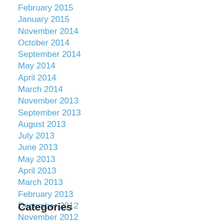February 2015
January 2015
November 2014
October 2014
September 2014
May 2014
April 2014
March 2014
November 2013
September 2013
August 2013
July 2013
June 2013
May 2013
April 2013
March 2013
February 2013
December 2012
November 2012
Categories